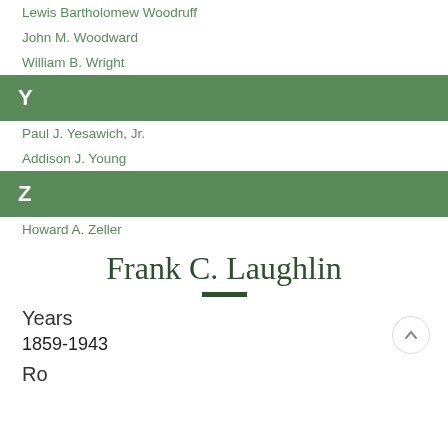Lewis Bartholomew Woodruff
John M. Woodward
William B. Wright
Y
Paul J. Yesawich, Jr.
Addison J. Young
Z
Howard A. Zeller
Frank C. Laughlin
Years
1859-1943
Role